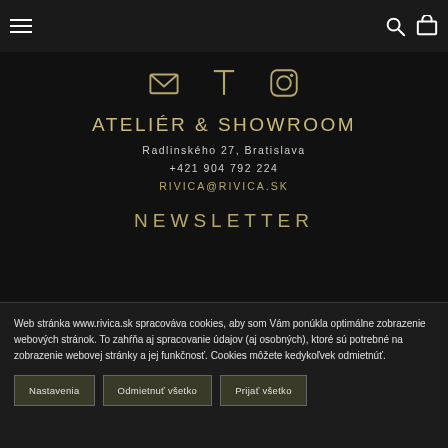Navigation bar with hamburger menu and icons
[Figure (illustration): Social media icons: email/envelope, Pinterest/T, Instagram, shown in gold/beige color on black background]
ATELIÉR & SHOWROOM
Radlinského 27, Bratislava
+421 904 792 224
RIVICA@RIVICA.SK
NEWSLETTER
Web stránka www.rivica.sk spracováva cookies, aby som Vám ponúkla optimálne zobrazenie webových stránok. To zahŕňa aj spracovanie údajov (aj osobných), ktoré sú potrebné na zobrazenie webovej stránky a jej funkčnosť. Cookies môžete kedykoľvek odmietnúť.
Nastavenia
Odmietnuť všetko
Prijať všetko